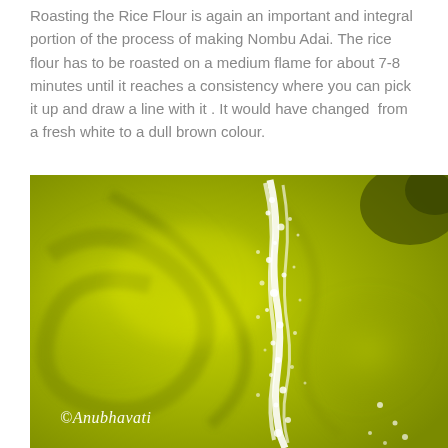Roasting the Rice Flour is again an important and integral portion of the process of making Nombu Adai. The rice flour has to be roasted on a medium flame for about 7-8 minutes until it reaches a consistency where you can pick it up and draw a line with it . It would have changed from a fresh white to a dull brown colour.
[Figure (photo): Close-up photo of a yellow-green pan or surface with white rice flour being drawn into a line, showing the consistency test for roasted rice flour. Watermark reads ©Anubhavati.]